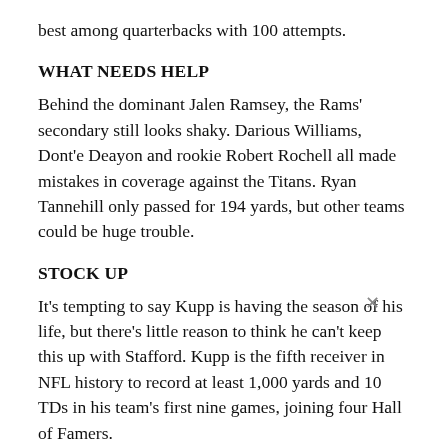best among quarterbacks with 100 attempts.
WHAT NEEDS HELP
Behind the dominant Jalen Ramsey, the Rams' secondary still looks shaky. Darious Williams, Dont'e Deayon and rookie Robert Rochell all made mistakes in coverage against the Titans. Ryan Tannehill only passed for 194 yards, but other teams could be huge trouble.
STOCK UP
It's tempting to say Kupp is having the season of his life, but there's little reason to think he can't keep this up with Stafford. Kupp is the fifth receiver in NFL history to record at least 1,000 yards and 10 TDs in his team's first nine games, joining four Hall of Famers.
STOCK DOWN
The Rams' offensive line had been quite solid all